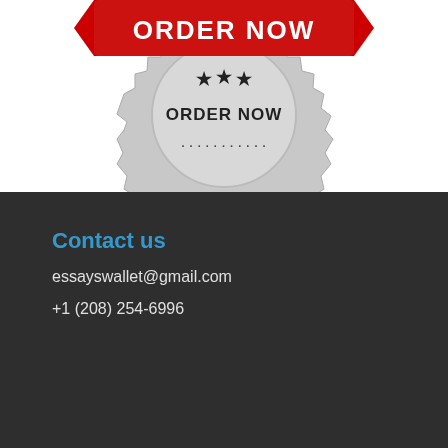[Figure (logo): An 'ORDER NOW' promotional badge/seal with a red ribbon banner on top reading 'ORDER NOW' in white bold letters, and a silver/gray circular seal below with star decorations and 'ORDER NOW' text in dark bold letters around the seal.]
Contact us
essayswallet@gmail.com
+1 (208) 254-6996